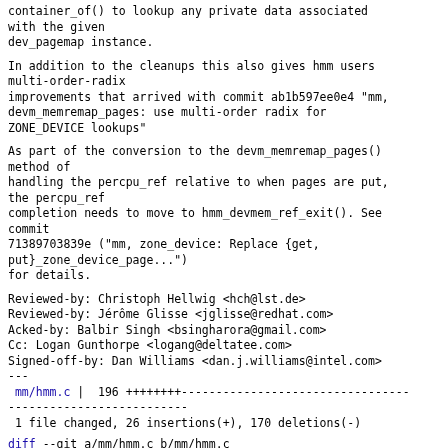container_of() to lookup any private data associated with the given
dev_pagemap instance.
In addition to the cleanups this also gives hmm users multi-order-radix
improvements that arrived with commit ab1b597ee0e4 "mm,
devm_memremap_pages: use multi-order radix for
ZONE_DEVICE lookups"
As part of the conversion to the devm_memremap_pages()
method of
handling the percpu_ref relative to when pages are put,
the percpu_ref
completion needs to move to hmm_devmem_ref_exit(). See
commit
71389703839e ("mm, zone_device: Replace {get,
put}_zone_device_page...")
for details.
Reviewed-by: Christoph Hellwig <hch@lst.de>
Reviewed-by: Jérôme Glisse <jglisse@redhat.com>
Acked-by: Balbir Singh <bsingharora@gmail.com>
Cc: Logan Gunthorpe <logang@deltatee.com>
Signed-off-by: Dan Williams <dan.j.williams@intel.com>
---
 mm/hmm.c |  196 ++++++++---------------------------------
 1 file changed, 26 insertions(+), 170 deletions(-)
diff --git a/mm/hmm.c b/mm/hmm.c